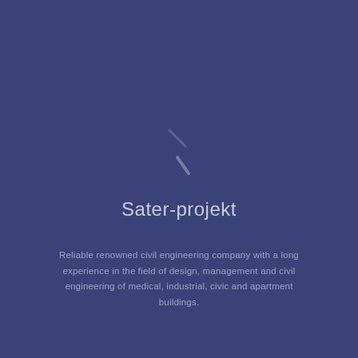[Figure (logo): Abstract diagonal line/slash logo mark in light blue-gray on dark blue background]
Sater-projekt
Reliable renowned civil engineering company with a long experience in the field of design, management and civil engineering of medical, industrial, civic and apartment buildings.